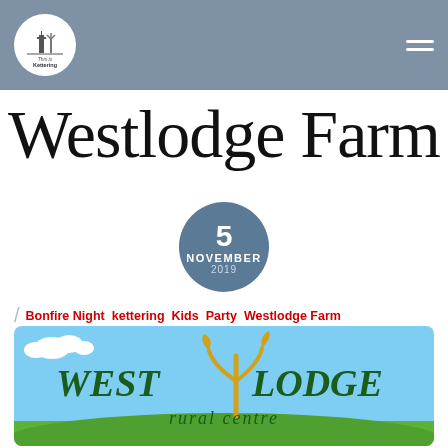This is Kettering
Westlodge Farm
5 NOVEMBER 2019
Bonfire Night  kettering  Kids  Party  Westlodge Farm
[Figure (logo): West Lodge Rural Centre logo on a sky blue background with green grass at the bottom. The logo shows 'WEST LODGE' in large dark green text with a stylized yellow plant/seedling between the two words, and 'rural centre' in italic text below.]